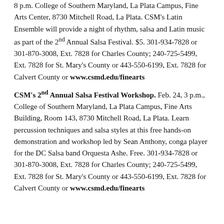8 p.m. College of Southern Maryland, La Plata Campus, Fine Arts Center, 8730 Mitchell Road, La Plata. CSM's Latin Ensemble will provide a night of rhythm, salsa and Latin music as part of the 2nd Annual Salsa Festival. $5. 301-934-7828 or 301-870-3008, Ext. 7828 for Charles County; 240-725-5499, Ext. 7828 for St. Mary's County or 443-550-6199, Ext. 7828 for Calvert County or www.csmd.edu/finearts
CSM's 2nd Annual Salsa Festival Workshop. Feb. 24, 3 p.m., College of Southern Maryland, La Plata Campus, Fine Arts Building, Room 143, 8730 Mitchell Road, La Plata. Learn percussion techniques and salsa styles at this free hands-on demonstration and workshop led by Sean Anthony, conga player for the DC Salsa band Orquesta Ashe. Free. 301-934-7828 or 301-870-3008, Ext. 7828 for Charles County; 240-725-5499, Ext. 7828 for St. Mary's County or 443-550-6199, Ext. 7828 for Calvert County or www.csmd.edu/finearts